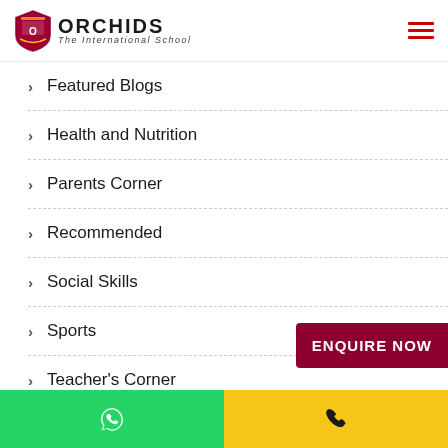ORCHIDS The International School
Featured Blogs
Health and Nutrition
Parents Corner
Recommended
Social Skills
Sports
Teacher's Corner
Uncategorized
ENQUIRE NOW
WhatsApp | Phone